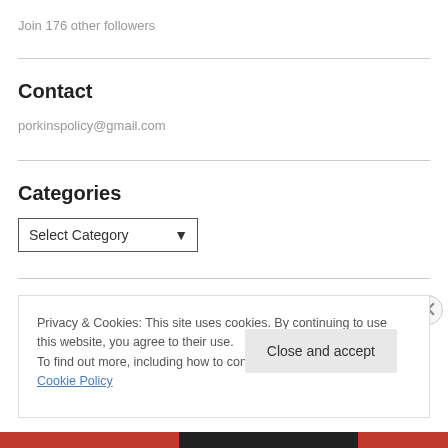Join 176 other followers
Contact
porkinspolicy@gmail.com
Categories
Select Category
Privacy & Cookies: This site uses cookies. By continuing to use this website, you agree to their use.
To find out more, including how to control cookies, see here: Cookie Policy
Close and accept